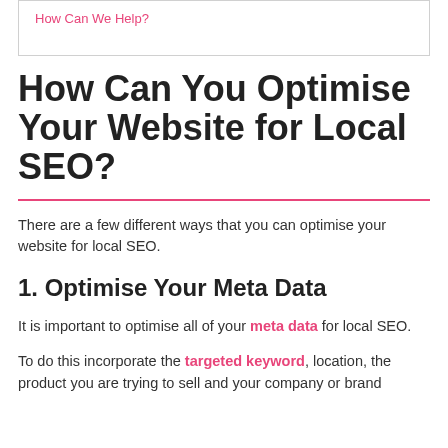How Can We Help?
How Can You Optimise Your Website for Local SEO?
There are a few different ways that you can optimise your website for local SEO.
1. Optimise Your Meta Data
It is important to optimise all of your meta data for local SEO.
To do this incorporate the targeted keyword, location, the product you are trying to sell and your company or brand